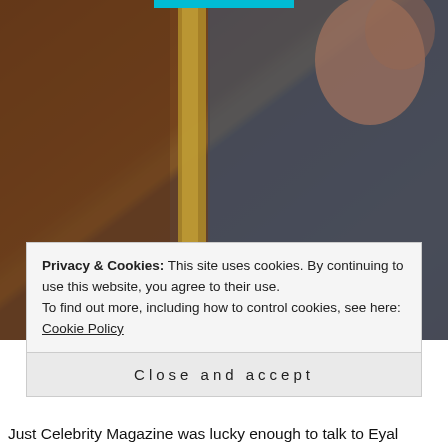[Figure (photo): Close-up photo of a person near a door or wardrobe with warm brown wood tones and gold/yellow stripe, dark background, partial face visible, with large 'BOYS' text overlay at the bottom in cream/gold letters]
Privacy & Cookies: This site uses cookies. By continuing to use this website, you agree to their use.
To find out more, including how to control cookies, see here: Cookie Policy
Close and accept
Just Celebrity Magazine was lucky enough to talk to  Eyal